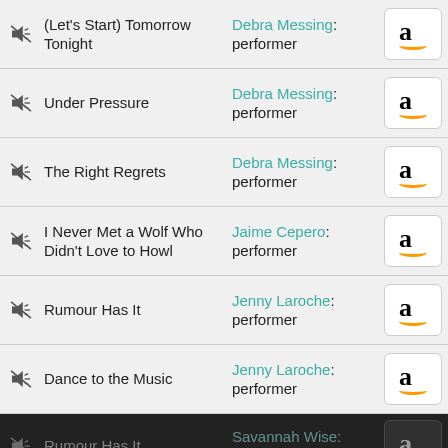(Let's Start) Tomorrow Tonight — Debra Messing: performer
Under Pressure — Debra Messing: performer
The Right Regrets — Debra Messing: performer
I Never Met a Wolf Who Didn't Love to Howl — Jaime Cepero: performer
Rumour Has It — Jenny Laroche: performer
Dance to the Music — Jenny Laroche: performer
Rumour Has It — Savannah Wise: performer
By closing this message, you consent to our cookies on this device in accordance with our cookie policy unless you have disabled them - Cookie policy
Dance to the Music — Savannah Wise: performer